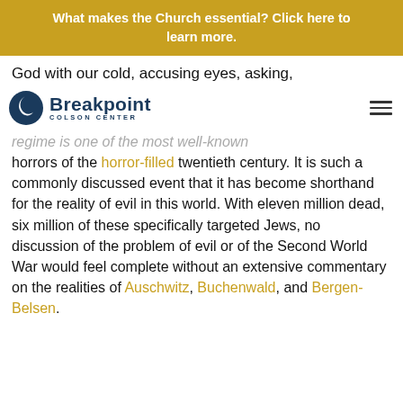What makes the Church essential? Click here to learn more.
God with our cold, accusing eyes, asking,
[Figure (logo): Breakpoint Colson Center logo with crescent moon icon and bold sans-serif text]
regime is one of the most well-known horrors of the horror-filled twentieth century. It is such a commonly discussed event that it has become shorthand for the reality of evil in this world. With eleven million dead, six million of these specifically targeted Jews, no discussion of the problem of evil or of the Second World War would feel complete without an extensive commentary on the realities of Auschwitz, Buchenwald, and Bergen-Belsen.